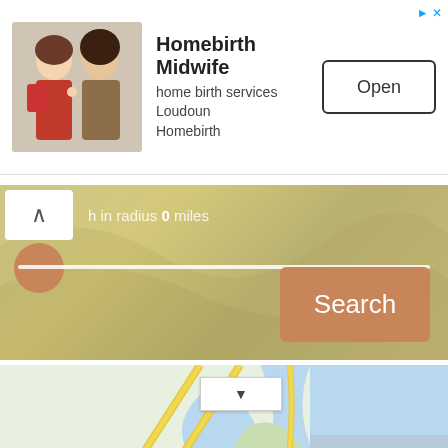[Figure (screenshot): Mobile app advertisement banner for Homebirth Midwife showing two women, app title, subtitle, and Open button]
[Figure (screenshot): Search radius slider panel with tan/sandy wavy background, chevron up button, 'h in radius 0 miles' text, slider with circle thumb, and Search button]
[Figure (map): Google Maps view showing Vilano Beach area near St. Augustine, Florida with road A1A, route 95, route 16, water bodies, and a teal location pin]